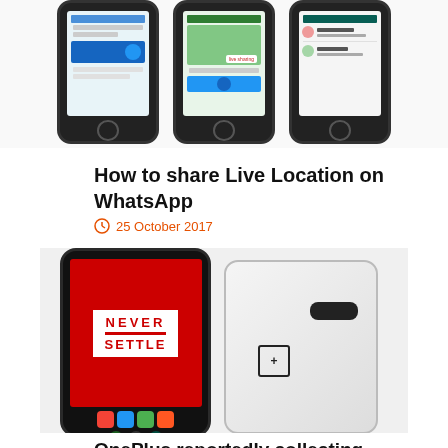[Figure (screenshot): Three iPhone smartphones showing WhatsApp screens with live location feature]
How to share Live Location on WhatsApp
25 October 2017
[Figure (photo): OnePlus smartphone showing front and back, with red 'Never Settle' screen]
OnePlus reportedly collecting private user